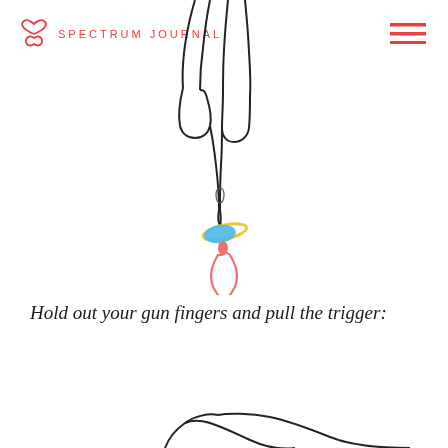SPECTRUM JOURNAL
[Figure (illustration): Hand with index finger pointing downward, touching a small blue blob with a yellow arc/halo above it. Below the finger is a pink/coral teardrop shape connected to an elongated leaf/flame shape, like an anatomical diagram illustration.]
Hold out your gun fingers and pull the trigger:
[Figure (illustration): Partial illustration of a hand in a gun-finger gesture, shown from below cropped at the bottom of the page.]